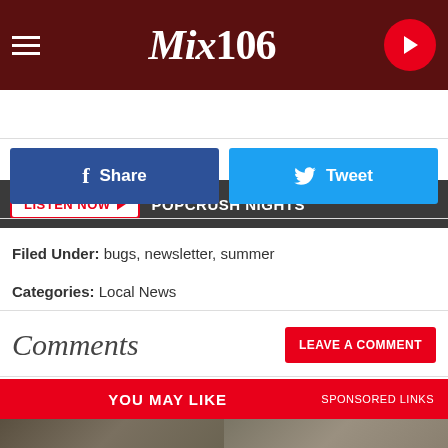[Figure (screenshot): Mix 106 radio station website header with dark red textured background, hamburger menu icon on left, Mix106 logo in center, red play button on right]
[Figure (screenshot): Listen Now button with POPCRUSH NIGHTS text on dark gray bar]
[Figure (screenshot): Facebook Share button (blue) and Twitter Tweet button (light blue) side by side]
Filed Under: bugs, newsletter, summer
Categories: Local News
Comments
LEAVE A COMMENT
YOU MAY LIKE
SPONSORED LINKS
[Figure (photo): Bottom image strip showing construction or archaeological site photos]